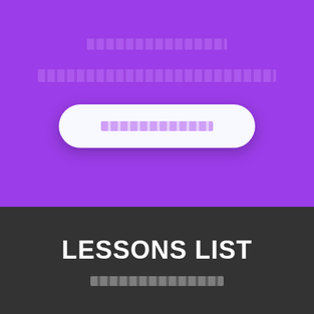[Figure (screenshot): Purple hero section of an e-learning app UI with placeholder content bars and a white pill-shaped button]
LESSONS LIST
[placeholder text bar]